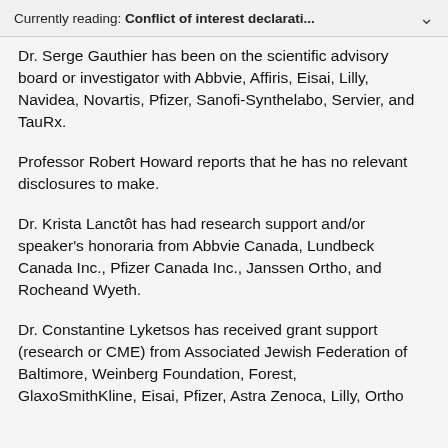Currently reading: Conflict of interest declarati...
Dr. Serge Gauthier has been on the scientific advisory board or investigator with Abbvie, Affiris, Eisai, Lilly, Navidea, Novartis, Pfizer, Sanofi-Synthelabo, Servier, and TauRx.
Professor Robert Howard reports that he has no relevant disclosures to make.
Dr. Krista Lanctôt has had research support and/or speaker's honoraria from Abbvie Canada, Lundbeck Canada Inc., Pfizer Canada Inc., Janssen Ortho, and Rocheand Wyeth.
Dr. Constantine Lyketsos has received grant support (research or CME) from Associated Jewish Federation of Baltimore, Weinberg Foundation, Forest, GlaxoSmithKline, Eisai, Pfizer, Astra Zenoca, Lilly, Ortho...